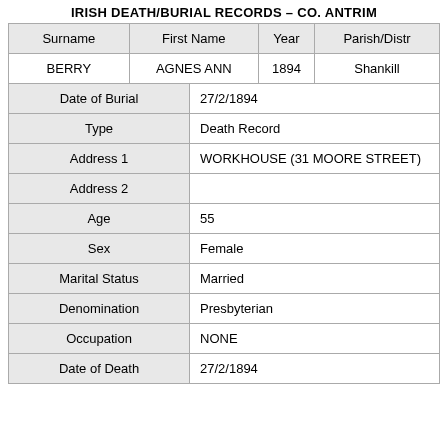IRISH DEATH/BURIAL RECORDS - CO. ANTRIM
| Surname | First Name | Year | Parish/Distr |
| --- | --- | --- | --- |
| BERRY | AGNES ANN | 1894 | Shankill |
| Date of Burial | 27/2/1894 |  |  |
| Type | Death Record |  |  |
| Address 1 | WORKHOUSE (31 MOORE STREET) |  |  |
| Address 2 |  |  |  |
| Age | 55 |  |  |
| Sex | Female |  |  |
| Marital Status | Married |  |  |
| Denomination | Presbyterian |  |  |
| Occupation | NONE |  |  |
| Date of Death | 27/2/1894 |  |  |